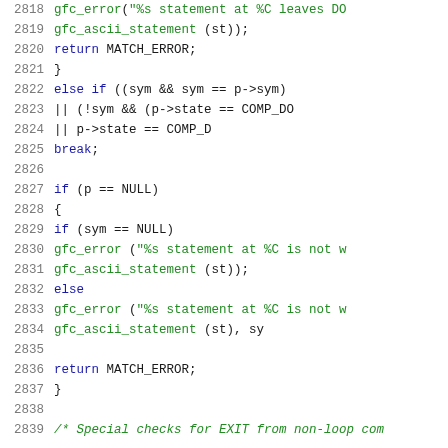[Figure (screenshot): Source code listing showing C code lines 2818-2839, with line numbers in gray, keywords in blue, and function call strings in green.]